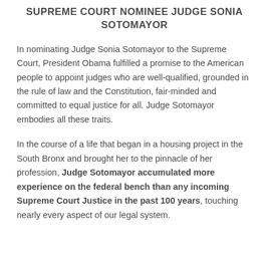SUPREME COURT NOMINEE JUDGE SONIA SOTOMAYOR
In nominating Judge Sonia Sotomayor to the Supreme Court, President Obama fulfilled a promise to the American people to appoint judges who are well-qualified, grounded in the rule of law and the Constitution, fair-minded and committed to equal justice for all. Judge Sotomayor embodies all these traits.
In the course of a life that began in a housing project in the South Bronx and brought her to the pinnacle of her profession, Judge Sotomayor accumulated more experience on the federal bench than any incoming Supreme Court Justice in the past 100 years, touching nearly every aspect of our legal system.